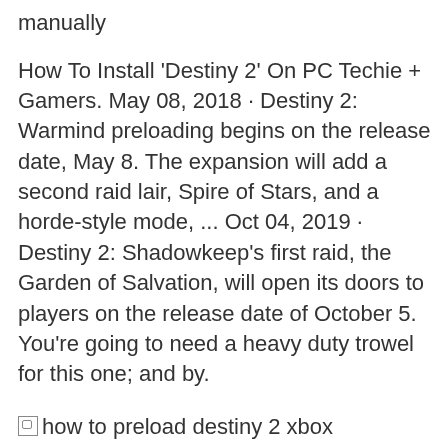manually
How To Install 'Destiny 2' On PC Techie + Gamers. May 08, 2018 · Destiny 2: Warmind preloading begins on the release date, May 8. The expansion will add a second raid lair, Spire of Stars, and a horde-style mode, ... Oct 04, 2019 · Destiny 2: Shadowkeep's first raid, the Garden of Salvation, will open its doors to players on the release date of October 5. You're going to need a heavy duty trowel for this one; and by.
[Figure (other): Broken image placeholder for 'how to preload destiny 2 xbox manually']